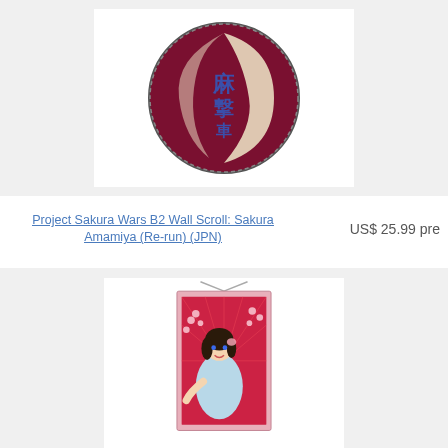[Figure (photo): Circular embroidered patch with dark maroon/crimson background featuring Japanese kanji characters in blue/purple and a cream-colored crescent design]
Project Sakura Wars B2 Wall Scroll: Sakura Amamiya (Re-run) (JPN)
US$ 25.99 pre
[Figure (photo): Anime wall scroll featuring Sakura Amamiya character in a light blue kimono with cherry blossoms on a red background, hanging from a wooden rod]